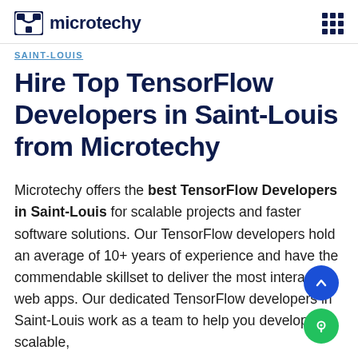microtechy
SAINT-LOUIS
Hire Top TensorFlow Developers in Saint-Louis from Microtechy
Microtechy offers the best TensorFlow Developers in Saint-Louis for scalable projects and faster software solutions. Our TensorFlow developers hold an average of 10+ years of experience and have the commendable skillset to deliver the most interactive web apps. Our dedicated TensorFlow developers in Saint-Louis work as a team to help you develop scalable,